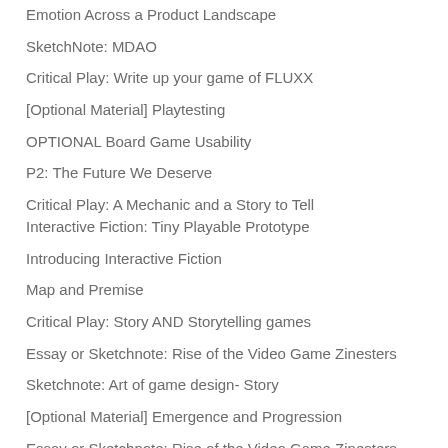Emotion Across a Product Landscape
SketchNote: MDAO
Critical Play: Write up your game of FLUXX
[Optional Material] Playtesting
OPTIONAL Board Game Usability
P2: The Future We Deserve
Critical Play: A Mechanic and a Story to Tell
Interactive Fiction: Tiny Playable Prototype
Introducing Interactive Fiction
Map and Premise
Critical Play: Story AND Storytelling games
Essay or Sketchnote: Rise of the Video Game Zinesters
Sketchnote: Art of game design- Story
[Optional Material] Emergence and Progression
Essay or Sketchnote: Rise of the Video Game Zinesters